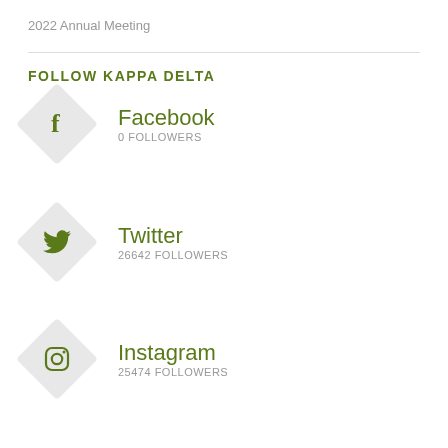2022 Annual Meeting
FOLLOW KAPPA DELTA
Facebook
0 FOLLOWERS
Twitter
26642 FOLLOWERS
Instagram
25474 FOLLOWERS